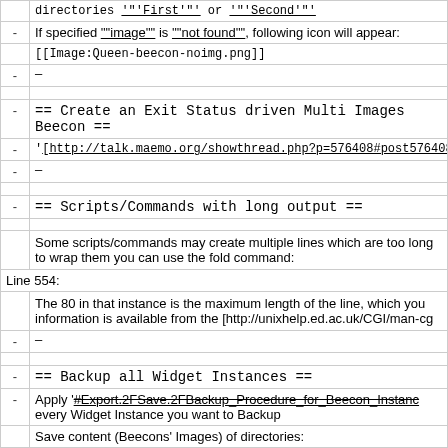|  | directories '"'First'"' or '"'Second'"' |
| - | If specified '"'image'"' is '"'not found'"', following icon will appear: |
|  | [[Image:Queen-beecon-noimg.png]] |
| - | — |
|  |  |
| - | == Create an Exit Status driven Multi Images Beecon == |
| - | '"'[http://talk.maemo.org/showthread.php?p=576408#post576408 Nai... |
| - | — |
|  |  |
| - | == Scripts/Commands with long output == |
|  |  |
|  | Some scripts/commands may create multiple lines which are too long... to wrap them you can use the fold command: |
| Line 554: |  |
|  | The 80 in that instance is the maximum length of the line, which you... information is available from the [http://unixhelp.ed.ac.uk/CGI/man-cg... |
| - | — |
|  |  |
| - | == Backup all Widget Instances == |
| - | Apply '"'[[#Export.2FSave.2FBackup_Procedure_for_Beecon_Instanc... every Widget Instance you want to Backup |
|  | Save content (Beecons' Images) of directories: |